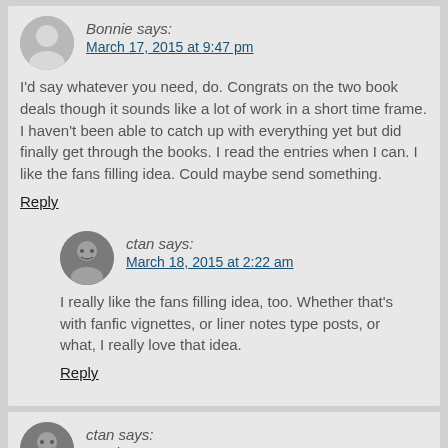Bonnie says: March 17, 2015 at 9:47 pm
I'd say whatever you need, do. Congrats on the two book deals though it sounds like a lot of work in a short time frame. I haven't been able to catch up with everything yet but did finally get through the books. I read the entries when I can. I like the fans filling idea. Could maybe send something.
Reply
ctan says: March 18, 2015 at 2:22 am
I really like the fans filling idea, too. Whether that's with fanfic vignettes, or liner notes type posts, or what, I really love that idea.
Reply
ctan says: March 18, 2015 at 2:31 am